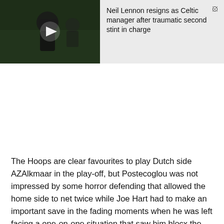[Figure (screenshot): Video thumbnail showing a football manager with hands on face, wearing black, on a green pitch background. A white play button triangle is overlaid in the center.]
Neil Lennon resigns as Celtic manager after traumatic second stint in charge
The Hoops are clear favourites to play Dutch side AZAlkmaar in the play-off, but Postecoglou was not impressed by some horror defending that allowed the home side to net twice while Joe Hart had to make an important save in the fading moments when he was left facing a one-on-one situation that saw him block the Czech's shot.